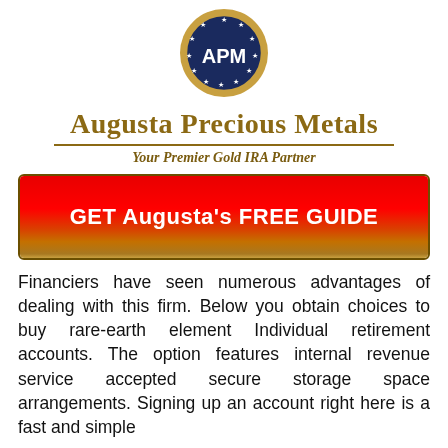[Figure (logo): APM circular logo with navy blue background, gold border, white stars arranged in a circle, and 'APM' text in white letters]
Augusta Precious Metals
Your Premier Gold IRA Partner
[Figure (infographic): Red-to-gold gradient button with text: GET Augusta's FREE GUIDE]
Financiers have seen numerous advantages of dealing with this firm. Below you obtain choices to buy rare-earth element Individual retirement accounts. The option features internal revenue service accepted secure storage space arrangements. Signing up an account right here is a fast and simple